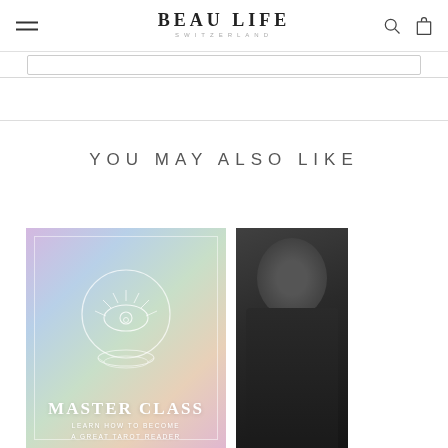BEAU LIFE SWITZERLAND
YOU MAY ALSO LIKE
[Figure (illustration): Tarot master class promotional card with pastel gradient background (pink, blue, green hues), crystal ball icon with all-seeing eye, text reading MASTER CLASS / LEARN HOW TO BECOME A GREAT TAROT READER]
[Figure (photo): Person wearing all-black outfit against dark background, partially cropped]